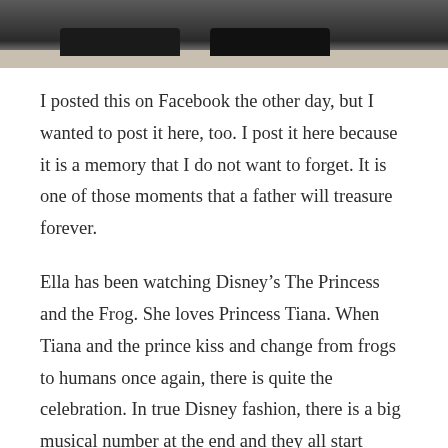[Figure (photo): Partial photo showing dark shoes/feet at top of page with a light-colored carpet or floor visible below]
I posted this on Facebook the other day, but I wanted to post it here, too. I post it here because it is a memory that I do not want to forget. It is one of those moments that a father will treasure forever.
Ella has been watching Disney’s The Princess and the Frog. She loves Princess Tiana. When Tiana and the prince kiss and change from frogs to humans once again, there is quite the celebration. In true Disney fashion, there is a big musical number at the end and they all start dancing.
Ella comes up to me and says, “You wanna dance with me, Daddy?!” No answer was necessary as I took her in